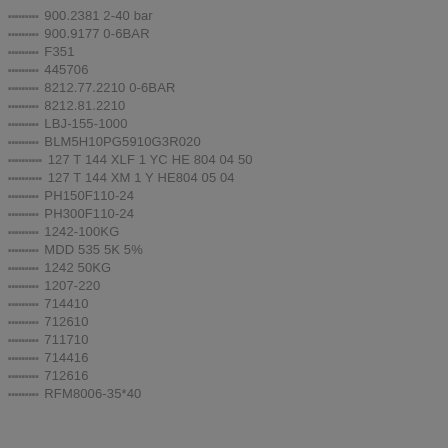900.2381 2-40 bar
900.9177 0-6BAR
F351
445706
8212.77.2210 0-6BAR
8212.81.2210
LBJ-155-1000
BLM5H10PG5910G3R020
127 T 144 XLF 1 YC HE 804 04 50
127 T 144 XM 1 Y HE804 05 04
PH150F110-24
PH300F110-24
1242-100KG
MDD 535 5K 5%
1242 50KG
1207-220
714410
712610
711710
714416
712616
RFM8006-35*40